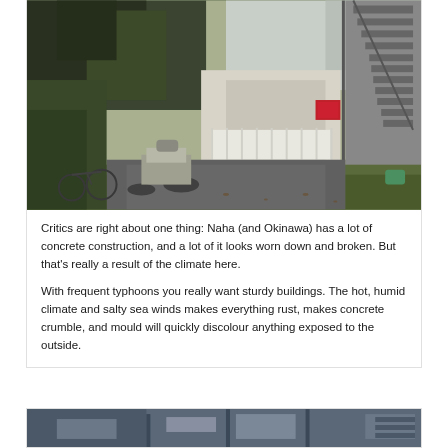[Figure (photo): Outdoor alleyway or courtyard of a residential building in Naha, Okinawa. Shows a moped/scooter and bicycle parked near lush green tropical vegetation, a small house with white fence/porch, a red sign on a wall, concrete staircase on the right side, and a damp mossy asphalt driveway.]
Critics are right about one thing: Naha (and Okinawa) has a lot of concrete construction, and a lot of it looks worn down and broken. But that's really a result of the climate here.
With frequent typhoons you really want sturdy buildings. The hot, humid climate and salty sea winds makes everything rust, makes concrete crumble, and mould will quickly discolour anything exposed to the outside.
[Figure (photo): Partial view of another building or urban scene in Naha, Okinawa, cut off at the bottom of the page. Shows what appears to be concrete structures in a grey/blue tone.]